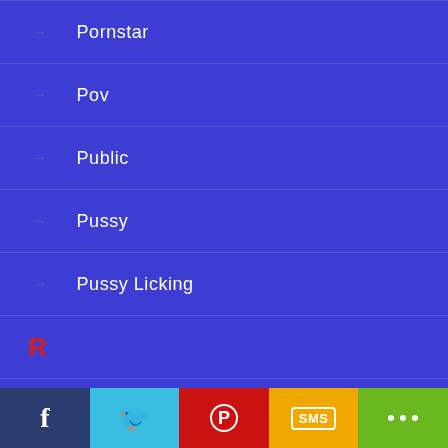Pornstar
Pov
Public
Pussy
Pussy Licking
R
Real
Reality